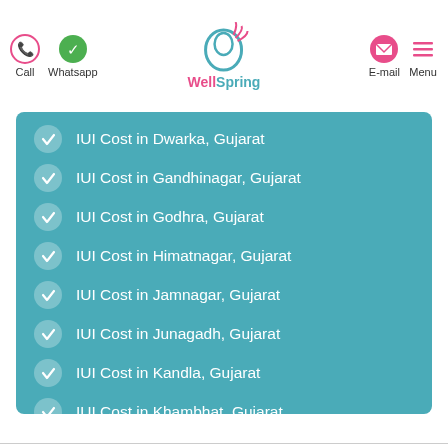Call  Whatsapp  WellSpring  E-mail  Menu
IUI Cost in Dwarka, Gujarat
IUI Cost in Gandhinagar, Gujarat
IUI Cost in Godhra, Gujarat
IUI Cost in Himatnagar, Gujarat
IUI Cost in Jamnagar, Gujarat
IUI Cost in Junagadh, Gujarat
IUI Cost in Kandla, Gujarat
IUI Cost in Khambhat, Gujarat